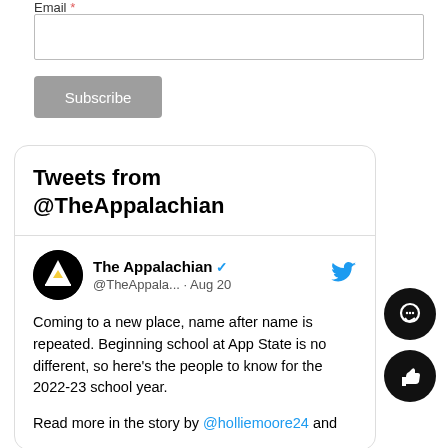Email *
Subscribe
Tweets from @TheAppalachian
The Appalachian @TheAppala... · Aug 20
Coming to a new place, name after name is repeated. Beginning school at App State is no different, so here's the people to know for the 2022-23 school year.
Read more in the story by @holliemoore24 and